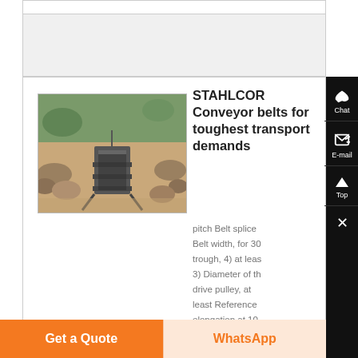[Figure (photo): Conveyor belt system in an outdoor rocky/quarry environment, showing the belt mechanism from above]
STAHLCOR Conveyor belts for toughest transport demands
pitch Belt splice Belt width, for 30 trough, 4) at least 3) Diameter of the drive pulley, at least Reference elongation at 10 % of mini- mum